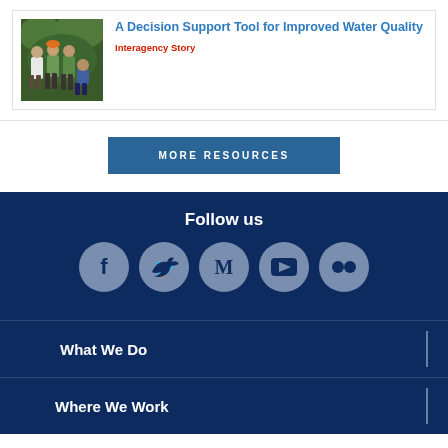[Figure (photo): Group of people standing outdoors in a forested area, wearing safety equipment]
A Decision Support Tool for Improved Water Quality
Interagency Story
MORE RESOURCES
Follow us
[Figure (infographic): Social media icons: Facebook, Twitter, Medium, YouTube, Flickr]
What We Do
Where We Work